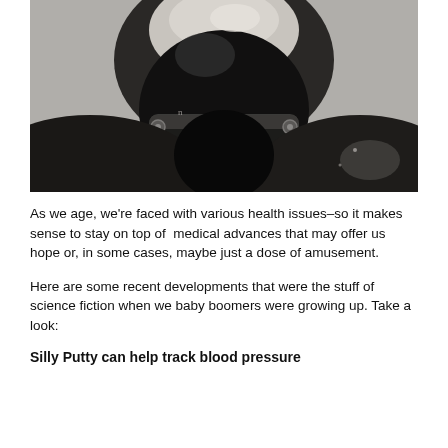[Figure (photo): Black and white close-up photograph of a person wearing a large metal collar/neck brace device with bolts, head tilted back, shot from below against a dark background.]
As we age, we're faced with various health issues–so it makes sense to stay on top of medical advances that may offer us hope or, in some cases, maybe just a dose of amusement.
Here are some recent developments that were the stuff of science fiction when we baby boomers were growing up. Take a look:
Silly Putty can help track blood pressure